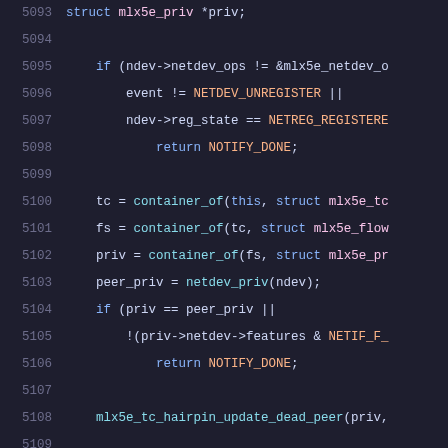Source code listing lines 5093-5113, C kernel networking code for mlx5e driver